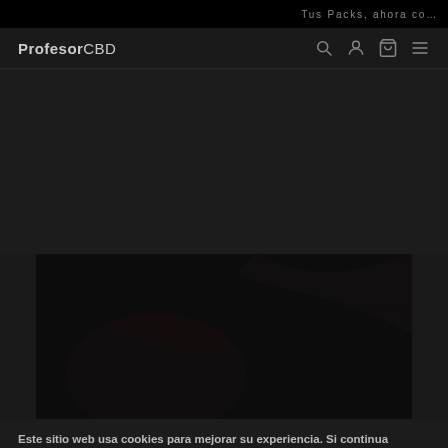Tus Packs, ahora co…
[Figure (logo): ProfesorCBD logo in navigation bar with search, account, cart, and menu icons]
[Figure (photo): Dark photograph showing hands, dark background, product or lifestyle image]
Este sitio web usa cookies para mejorar su experiencia. Si continua navegando, asumimos que está de acuerdo con esto. Por otro lado, puede negarse si lo desea.
Ajustes Cookie
Aceptar